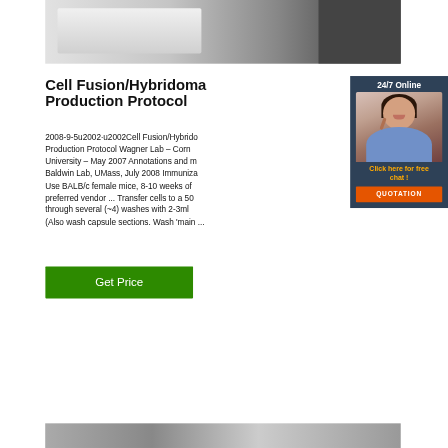[Figure (photo): Top portion of a laboratory or industrial equipment image, partially visible at top of page]
Cell Fusion/Hybridoma Production Protocol
2008-9-5u2002·u2002Cell Fusion/Hybridoma Production Protocol Wagner Lab – Cornell University – May 2007 Annotations and modifications Baldwin Lab, UMass, July 2008 Immunization: Use BALB/c female mice, 8-10 weeks of age from preferred vendor ... Transfer cells to a 50... through several (~4) washes with 2-3ml ... (Also wash capsule sections. Wash 'main ...
[Figure (photo): Chat widget overlay showing a female customer service agent with headset, 24/7 Online label, orange chat and quotation buttons]
[Figure (photo): Get Price button - green rectangle with white text]
[Figure (photo): Bottom partial image of laboratory equipment]